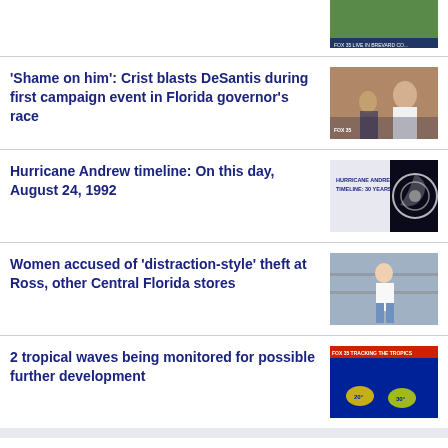[Figure (screenshot): Partial thumbnail of a news story at the top of the page]
'Shame on him': Crist blasts DeSantis during first campaign event in Florida governor's race
[Figure (photo): Photo of Charlie Crist with a reporter]
Hurricane Andrew timeline: On this day, August 24, 1992
[Figure (photo): Hurricane Andrew Timeline 30 Years graphic with satellite image]
Women accused of 'distraction-style' theft at Ross, other Central Florida stores
[Figure (photo): Surveillance photo of women in a store]
2 tropical waves being monitored for possible further development
[Figure (screenshot): FOX 35 tracking the tropics satellite map]
Trending